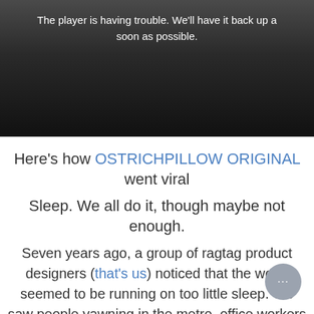[Figure (screenshot): Video player error screen with dark gradient background showing error message text in white]
The player is having trouble. We'll have it back up as soon as possible.
Here's how OSTRICHPILLOW ORIGINAL went viral
Sleep. We all do it, though maybe not enough.
Seven years ago, a group of ragtag product designers (that's us) noticed that the world seemed to be running on too little sleep. We saw people yawning in the metro, office workers slumping at their desks, and far too many under eye bags to count.